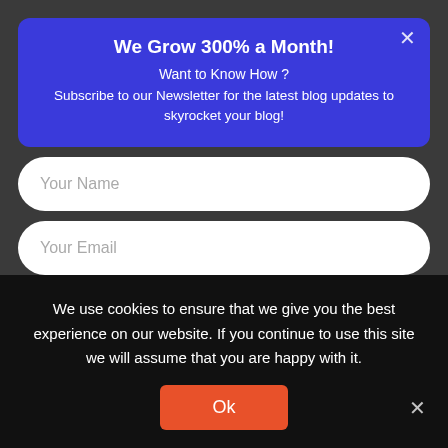We Grow 300% a Month!
Want to Know How ? Subscribe to our Newsletter for the latest blog updates to skyrocket your blog!
Your Name
Your Email
Subscribe
Speed Up Yo... Si...
[Figure (logo): Convertful branding badge with lightning bolt emoji and text 'by Convertful']
We use cookies to ensure that we give you the best experience on our website. If you continue to use this site we will assume that you are happy with it.
Ok